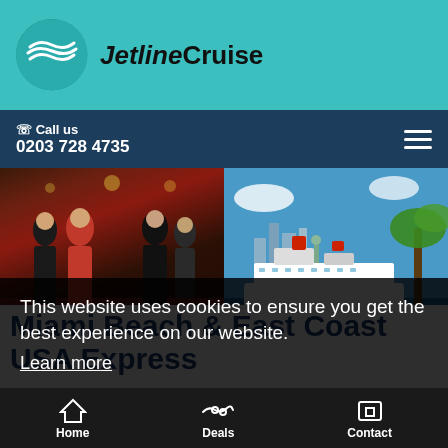[Figure (logo): JetlineCruise logo with teal circle and wave icon, italic 'Jetline' + 'Cruise' text]
Call us 0203 728 4735
[Figure (photo): Hero image collage: left half shows people in formal wear on red carpet; right half shows cruise ship near city skyline with palm trees]
This website uses cookies to ensure you get the best experience on our website.
Learn more
Got it!
Miami Beach & East Coast USA Express
Home   Deals   Contact